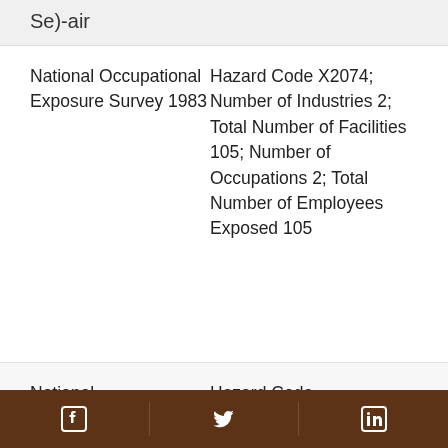Se)-air
National Occupational Exposure Survey 1983
Hazard Code X2074; Number of Industries 2; Total Number of Facilities 105; Number of Occupations 2; Total Number of Employees Exposed 105
National
Hazard Code
Social media icons: Facebook, Twitter, LinkedIn